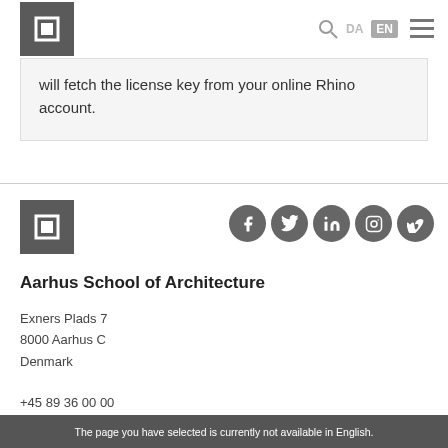[Figure (logo): Aarhus School of Architecture logo - white A letter on dark grey square background]
will fetch the license key from your online Rhino account.
[Figure (logo): Aarhus School of Architecture footer logo - white A letter on dark grey square background]
[Figure (infographic): Social media icons row: Facebook, Twitter, LinkedIn, Instagram, Vimeo - white icons on dark grey circles]
Aarhus School of Architecture
Exners Plads 7
8000 Aarhus C
Denmark
+45 89 36 00 00
The page you have selected is currently not available in English.